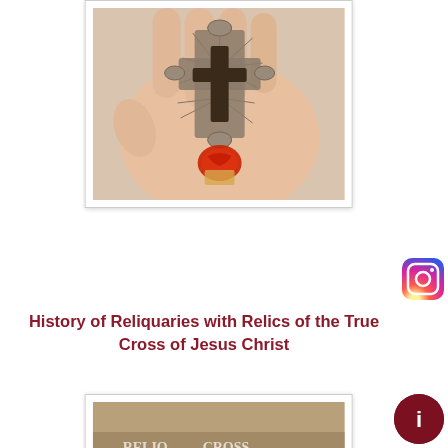[Figure (photo): A hand holding a decorative silver cross reliquary with filigree metalwork, radiating lines, and a red wax seal hanging below it, photographed against a light background.]
[Figure (logo): Instagram logo icon in gradient pink/orange/purple colors.]
History of Reliquaries with Relics of the True Cross of Jesus Christ
[Figure (photo): Partial view of a second image below the title, showing what appears to be a historical relic or artifact with text visible at the bottom edge.]